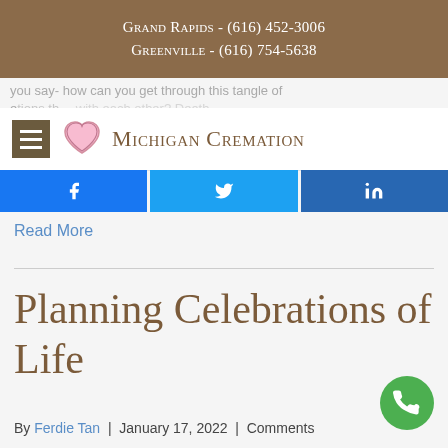Grand Rapids - (616) 452-3006
Greenville - (616) 754-5638
you say- how can you get through this tangle of emotions that... with each other? Death...
[Figure (logo): Michigan Cremation logo with pink heart icon and text 'Michigan Cremation' in small-caps serif font]
[Figure (infographic): Social share buttons: Facebook (blue), Twitter (light blue), LinkedIn (dark blue)]
Read More
Planning Celebrations of Life
By Ferdie Tan  |  January 17, 2022  |  Comments